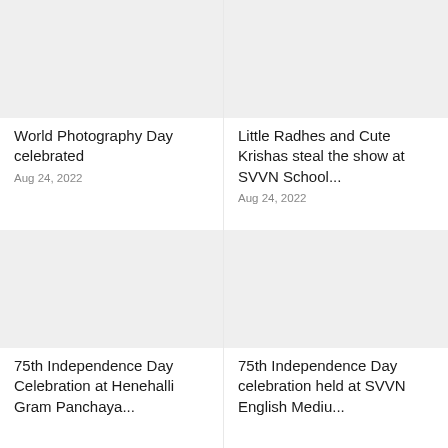[Figure (photo): Placeholder image for World Photography Day article]
World Photography Day celebrated
Aug 24, 2022
[Figure (photo): Placeholder image for Little Radhes and Cute Krishas article]
Little Radhes and Cute Krishas steal the show at SVVN School...
Aug 24, 2022
[Figure (photo): Placeholder image for 75th Independence Day Henehalli article]
75th Independence Day Celebration at Henehalli Gram Panchaya...
[Figure (photo): Placeholder image for 75th Independence Day SVVN article]
75th Independence Day celebration held at SVVN English Mediu...